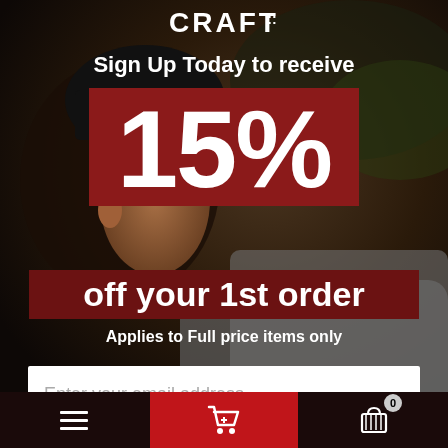[Figure (photo): Background photo of a cyclist wearing a helmet, close-up profile view, dark moody lighting with warm tones. CRAFT brand logo visible at top center.]
Sign Up Today to receive
15%
off your 1st order
Applies to Full price items only
Enter your email address
We use email and targeted online advertising to send you product and services updates, promotional offers and other marketing communications based on the information we collect about you, such as your email address, general location, and purchase and website browsing history.
We process your personal data as stated in our Privacy Policy {insert privacy policy link}. You may withdraw your consent or manage your
≡  [cart icon]  [basket icon] 0